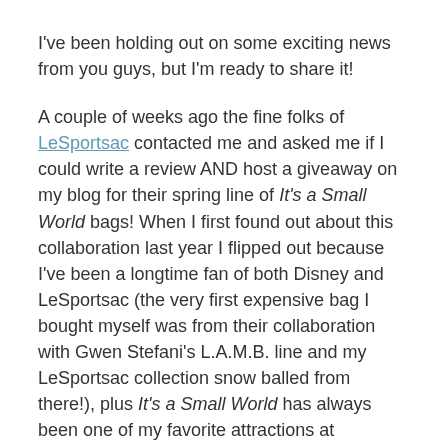I've been holding out on some exciting news from you guys, but I'm ready to share it!
A couple of weeks ago the fine folks of LeSportsac contacted me and asked me if I could write a review AND host a giveaway on my blog for their spring line of It's a Small World bags! When I first found out about this collaboration last year I flipped out because I've been a longtime fan of both Disney and LeSportsac (the very first expensive bag I bought myself was from their collaboration with Gwen Stefani's L.A.M.B. line and my LeSportsac collection snow balled from there!), plus It's a Small World has always been one of my favorite attractions at Disneyland since I was a little girl. So when I was approached by them to review a couple of bags for this particular line I did a little happy dance around my room! 😀